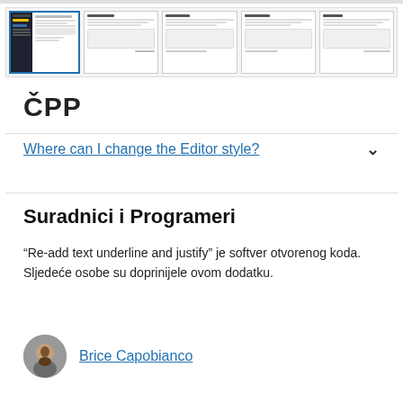[Figure (screenshot): Row of 5 screenshot thumbnails showing a WordPress plugin editor interface. The first thumbnail is highlighted/selected with a blue border and shows a dark sidebar with yellow highlighted row.]
ČPP
Where can I change the Editor style?
Suradnici i Programeri
“Re-add text underline and justify” je softver otvorenog koda. Sljedeće osobe su doprinijele ovom dodatku.
Brice Capobianco